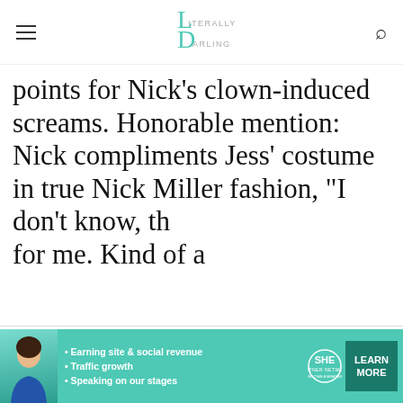Literally Darling
points for Nick's clown-induced screams. Honorable mention: Nick compliments Jess' costume in true Nick Miller fashion, "I don't know, th... for me. Kind of a...
Our site uses cookies. ... our use of cookies: coo...
I ACCEPT USE OF COOKIES
[Figure (infographic): SHE Partner Network advertisement banner with teal background, person photo, bullet points: Earning site & social revenue, Traffic growth, Speaking on our stages. SHE logo with circular emblem. LEARN MORE button.]